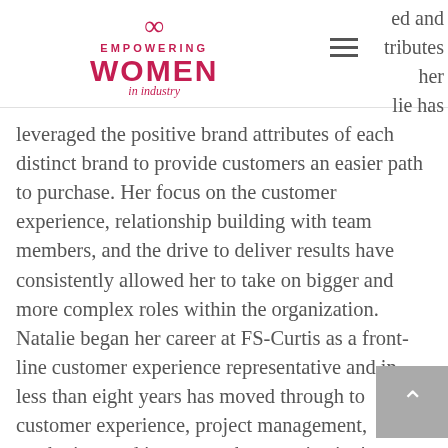[Figure (logo): Empowering Women in Industry logo with infinity symbol in crimson/red]
ed and tributes her lie has leveraged the positive brand attributes of each distinct brand to provide customers an easier path to purchase. Her focus on the customer experience, relationship building with team members, and the drive to deliver results have consistently allowed her to take on bigger and more complex roles within the organization. Natalie began her career at FS-Curtis as a front-line customer experience representative and in less than eight years has moved through to customer experience, project management, marketing, and is now on the organization's executive leadership team. Natalie thrives on demonstrating consistent Servant Leadership across